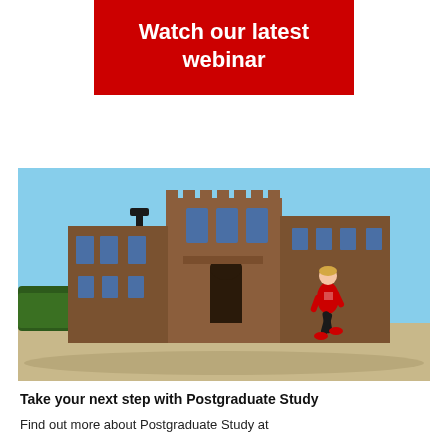Watch our latest webinar
[Figure (photo): A woman in a red top and black leggings jogging in front of a large Victorian Gothic university building (Queen's University Belfast) under a clear blue sky.]
Take your next step with Postgraduate Study
Find out more about Postgraduate Study at